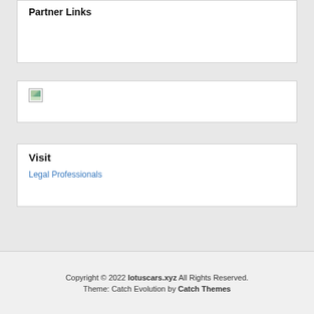Partner Links
[Figure (illustration): Broken/missing image placeholder icon with small landscape thumbnail appearance]
Visit
Legal Professionals
Copyright © 2022 lotuscars.xyz All Rights Reserved. Theme: Catch Evolution by Catch Themes